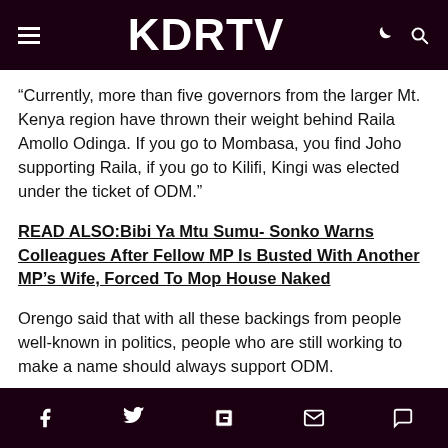KDRTV
“Currently, more than five governors from the larger Mt. Kenya region have thrown their weight behind Raila Amollo Odinga. If you go to Mombasa, you find Joho supporting Raila, if you go to Kilifi, Kingi was elected under the ticket of ODM.”
READ ALSO:Bibi Ya Mtu Sumu- Sonko Warns Colleagues After Fellow MP Is Busted With Another MP’s Wife, Forced To Mop House Naked
Orengo said that with all these backings from people well-known in politics, people who are still working to make a name should always support ODM.
Social share icons: Facebook, Twitter, Flipboard, Email, Comment